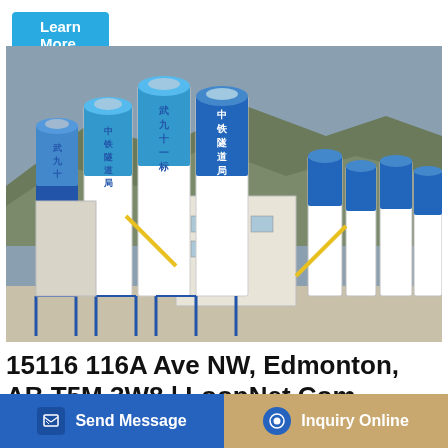Learn More
[Figure (photo): Industrial concrete batching plant with multiple large blue and white silos labeled in Chinese characters (中铁隧道局, 武九十一标), structural steel framework, a beige building, yellow conveyor arms, set against a rocky hillside backdrop.]
15116 116A Ave NW, Edmonton, AB T5M 3W8 | LoopNet.Com
15116 116A Ave NW, Edmonton, AB T5M 3W8. This space om.
Send Message
Inquiry Online